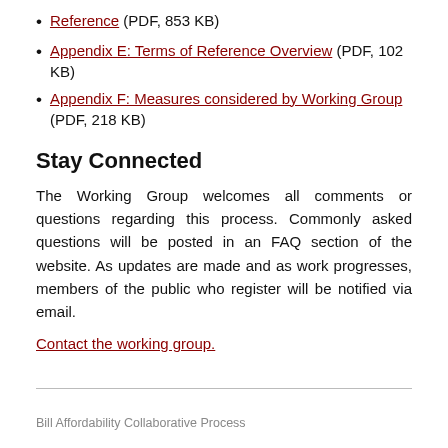Reference (PDF, 853 KB)
Appendix E: Terms of Reference Overview (PDF, 102 KB)
Appendix F: Measures considered by Working Group (PDF, 218 KB)
Stay Connected
The Working Group welcomes all comments or questions regarding this process. Commonly asked questions will be posted in an FAQ section of the website. As updates are made and as work progresses, members of the public who register will be notified via email.
Contact the working group.
Bill Affordability Collaborative Process